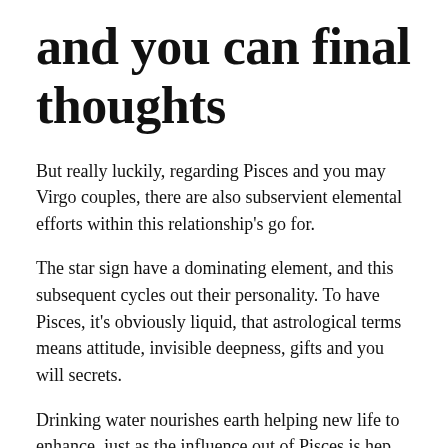and you can final thoughts
But really luckily, regarding Pisces and you may Virgo couples, there are also subservient elemental efforts within this relationship's go for.
The star sign have a dominating element, and this subsequent cycles out their personality. To have Pisces, it's obviously liquid, that astrological terms means attitude, invisible deepness, gifts and you will secrets.
Drinking water nourishes earth helping new life to enhance, just as the influence out of Pisces is hep Virgo look for the fresh way of thought, and will be offering